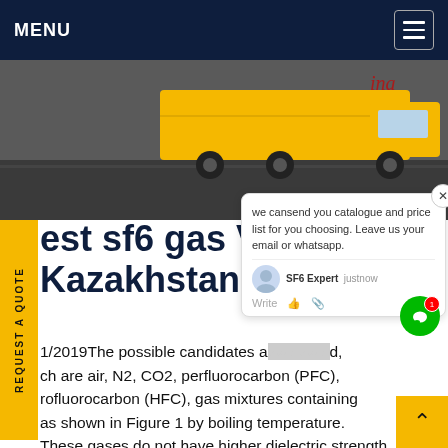MENU
[Figure (photo): Yellow truck on a road, hero image at top of page]
est sf6 gas Vacu g Kazakhstan
1/2019The possible candidates a... d, ch are air, N2, CO2, perfluorocarbon (PFC), rofluorocarbon (HFC), gas mixtures containing as shown in Figure 1 by boiling temperature. These gases do not have higher dielectric strength but lower GWP than SF6, and their boiling points below 0 °C. Other approaches to apply new
we cansend you catalogue and price list for you choosing. Leave us your email or whatsapp.